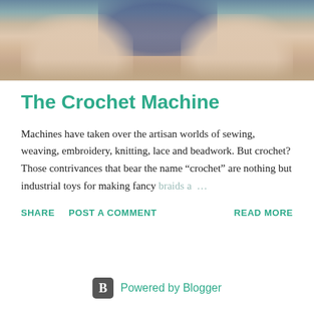[Figure (photo): Close-up photograph of hands crocheting or knitting, with light teal/blue yarn visible at top]
The Crochet Machine
Machines have taken over the artisan worlds of sewing, weaving, embroidery, knitting, lace and beadwork. But crochet? Those contrivances that bear the name "crochet" are nothing but industrial toys for making fancy braids a …
SHARE   POST A COMMENT   READ MORE
Powered by Blogger